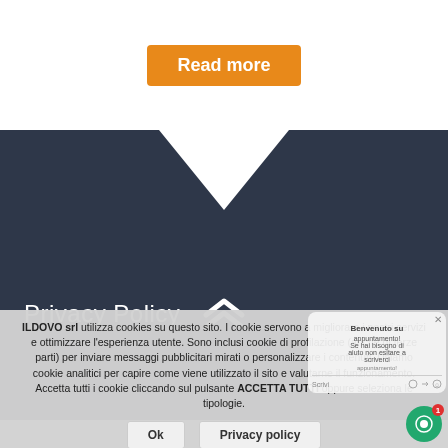[Figure (screenshot): Orange 'Read more' button on white background]
[Figure (screenshot): Dark navy banner section with upward-pointing triangle and double chevron arrows]
Privacy Policy
ILDOVO srl utilizza cookies su questo sito. I cookie servono a migliorare i nostri servizi e ottimizzare l'esperienza utente. Sono inclusi cookie di profilazione (anche di terze parti) per inviare messaggi pubblicitari mirati o personalizzare i contenuti. Usiamo cookie analitici per capire come viene utilizzato il sito e valutarne il funzionamento. Accetta tutti i cookie cliccando sul pulsante ACCETTA TUTTI oppure seleziona le tipologie.
[Figure (screenshot): Cookie consent buttons: Ok and Privacy policy]
[Figure (screenshot): Partially visible chat popup with Benvenuto text and green chat circle with notification badge showing 1]